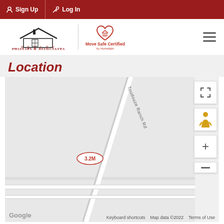Sign Up  Log In
[Figure (logo): Phillips & Associates Realty logo with Move Safe Certified badge]
Location
[Figure (map): Google Maps view showing Toudouze Ranch Rd with a 3.2M marker, Google branding, map controls including fullscreen, street view person, zoom in and zoom out buttons, keyboard shortcuts, Map data ©2022, Terms of Use]